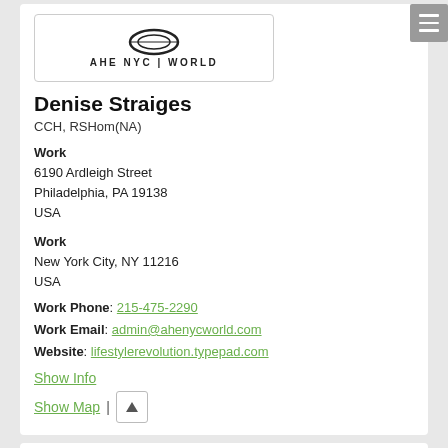[Figure (logo): AHE NYC | WORLD logo with circular emblem above text]
Denise Straiges
CCH, RSHom(NA)
Work
6190 Ardleigh Street
Philadelphia, PA 19138
USA
Work
New York City, NY 11216
USA
Work Phone: 215-475-2290
Work Email: admin@ahenycworld.com
Website: lifestylerevolution.typepad.com
Show Info
Show Map
[Figure (photo): Photo of a person outdoors on grass, partially visible at bottom of page]